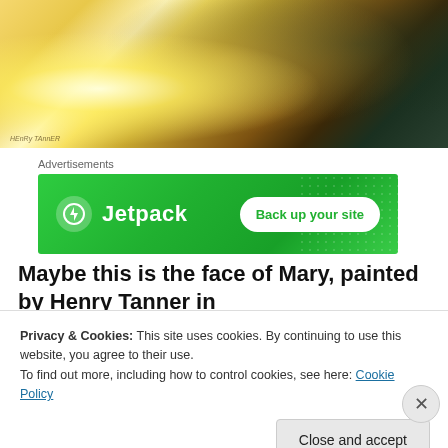[Figure (photo): A painting by Henry Tanner showing robed figures in golden warm light, appears to be a religious scene. A bright light source is visible on the left. The floor has a patterned rug/carpet. Dark background on the right with a figure in dark robes.]
Advertisements
[Figure (screenshot): Jetpack advertisement banner with green background showing Jetpack logo (lightning bolt icon) and text 'Jetpack' on the left and a white rounded button 'Back up your site' on the right.]
Maybe this is the face of Mary, painted by Henry Tanner in
Privacy & Cookies: This site uses cookies. By continuing to use this website, you agree to their use.
To find out more, including how to control cookies, see here: Cookie Policy
Close and accept